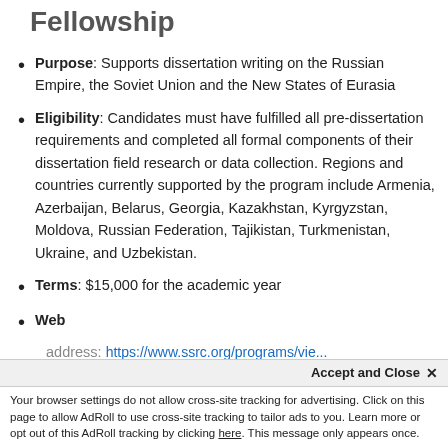Fellowship
Purpose: Supports dissertation writing on the Russian Empire, the Soviet Union and the New States of Eurasia
Eligibility: Candidates must have fulfilled all pre-dissertation requirements and completed all formal components of their dissertation field research or data collection. Regions and countries currently supported by the program include Armenia, Azerbaijan, Belarus, Georgia, Kazakhstan, Kyrgyzstan, Moldova, Russian Federation, Tajikistan, Turkmenistan, Ukraine, and Uzbekistan.
Terms: $15,000 for the academic year
Web address: https://www.ssrc.org/programs/view...
Accept and Close ×
Your browser settings do not allow cross-site tracking for advertising. Click on this page to allow AdRoll to use cross-site tracking to tailor ads to you. Learn more or opt out of this AdRoll tracking by clicking here. This message only appears once.